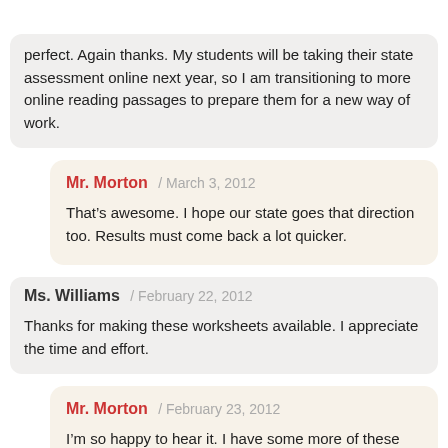Reading  Fig. Lang.  Lang. Arts  Writing
perfect. Again thanks. My students will be taking their state assessment online next year, so I am transitioning to more online reading passages to prepare them for a new way of work.
Mr. Morton / March 3, 2012
That’s awesome. I hope our state goes that direction too. Results must come back a lot quicker.
Ms. Williams / February 22, 2012
Thanks for making these worksheets available. I appreciate the time and effort.
Mr. Morton / February 23, 2012
I’m so happy to hear it. I have some more of these that I will be adding soon. Thanks for visiting!